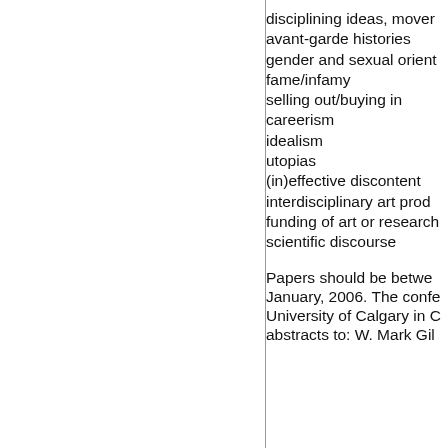disciplining ideas, mover
avant-garde histories
gender and sexual orient
fame/infamy
selling out/buying in
careerism
idealism
utopias
(in)effective discontent
interdisciplinary art prod
funding of art or research
scientific discourse
Papers should be betwe January, 2006. The confe University of Calgary in C abstracts to: W. Mark Gil